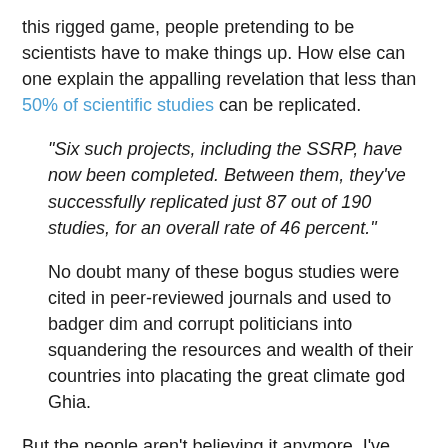this rigged game, people pretending to be scientists have to make things up. How else can one explain the appalling revelation that less than 50% of scientific studies can be replicated.
“Six such projects, including the SSRP, have now been completed. Between them, they’ve successfully replicated just 87 out of 190 studies, for an overall rate of 46 percent.”
No doubt many of these bogus studies were cited in peer-reviewed journals and used to badger dim and corrupt politicians into squandering the resources and wealth of their countries into placating the great climate god Ghia.
But the people aren’t believing it anymore. I’ve been bashing heads with climate change idiots online and in real life for over 10 years, but the turnaround in attitude that we’re now seeing